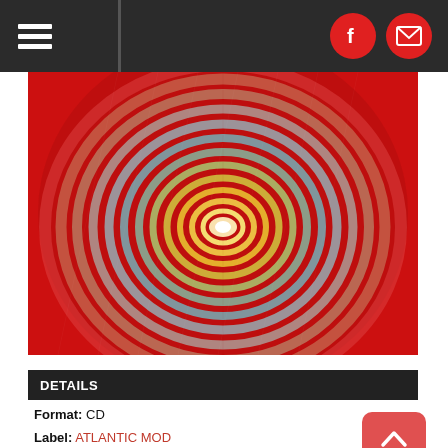Navigation bar with hamburger menu and social icons (Facebook, email)
[Figure (illustration): Album artwork showing a glowing hot air balloon or spherical orb made of concentric ribbed rings, illuminated from within with teal and warm orange/yellow gradient, set against a vivid red background.]
DETAILS
Format: CD
Label: ATLANTIC MOD
Rel. Date: 03/11/2022
UPC: 075678648762